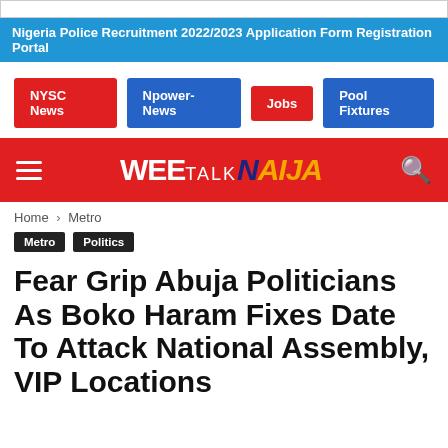Nigeria Police Recruitment 2022/2023 Application Form Registration Portal
NYSC News
Npower-News
Jobs
Pool Fixtures
[Figure (logo): WeeTalkNaija website logo on red navigation bar with hamburger menu and search icon]
Home › Metro
Metro  Politics
Fear Grip Abuja Politicians As Boko Haram Fixes Date To Attack National Assembly, VIP Locations